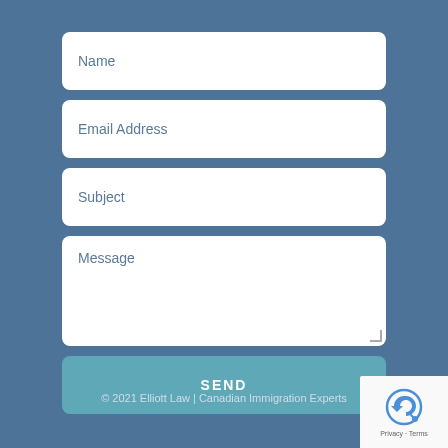Name
Email Address
Subject
Message
SEND
© 2021 Elliott Law | Canadian Immigration Experts
[Figure (other): reCAPTCHA badge with Privacy and Terms links]